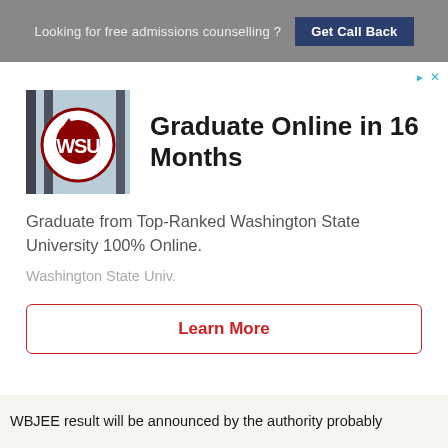Looking for free admissions counselling ? Get Call Back
[Figure (logo): Washington State University WSU logo — crimson cougar head in a circle on a light blue/grey background with fence-like vertical bars]
Graduate Online in 16 Months
Graduate from Top-Ranked Washington State University 100% Online.
Washington State Univ.
Learn More
WBJEE result will be announced by the authority probably